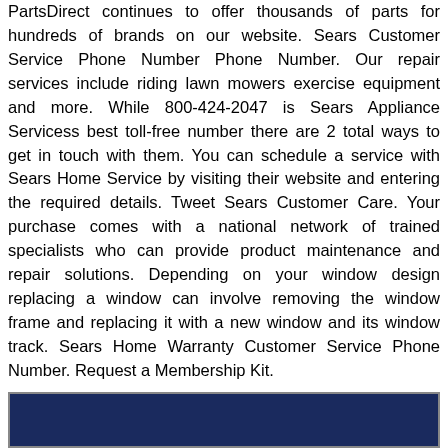PartsDirect continues to offer thousands of parts for hundreds of brands on our website. Sears Customer Service Phone Number Phone Number. Our repair services include riding lawn mowers exercise equipment and more. While 800-424-2047 is Sears Appliance Servicess best toll-free number there are 2 total ways to get in touch with them. You can schedule a service with Sears Home Service by visiting their website and entering the required details. Tweet Sears Customer Care. Your purchase comes with a national network of trained specialists who can provide product maintenance and repair solutions. Depending on your window design replacing a window can involve removing the window frame and replacing it with a new window and its window track. Sears Home Warranty Customer Service Phone Number. Request a Membership Kit.
[Figure (other): Dark navy blue rectangle at the bottom of the page, bordered by a grey outline.]